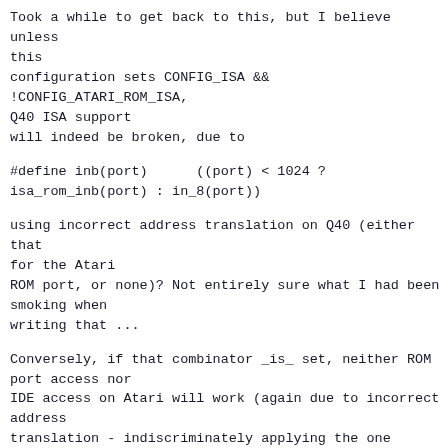Took a while to get back to this, but I believe unless this
configuration sets CONFIG_ISA && !CONFIG_ATARI_ROM_ISA, Q40 ISA support
will indeed be broken, due to
using incorrect address translation on Q40 (either that for the Atari
ROM port, or none)? Not entirely sure what I had been smoking when
writing that ...
Conversely, if that combinator _is_ set, neither ROM port access nor
IDE access on Atari will work (again due to incorrect address
translation - indiscriminately applying the one required for the ROM
port in that case, which is inappropriate for Atari IDE).
I'm currently considering a fix that does conditional address
translation in isa_itb() and its buddys, and replaces in_8() by
isa_inb() in the definition above (and equivalent changes elsewhere).